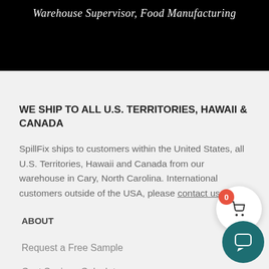Warehouse Supervisor, Food Manufacturing
WE SHIP TO ALL U.S. TERRITORIES, HAWAII & CANADA
SpillFix ships to customers within the United States, all U.S. Territories, Hawaii and Canada from our warehouse in Cary, North Carolina. International customers outside of the USA, please contact us.
ABOUT
Request a Free Sample
Cost Savings Calculator